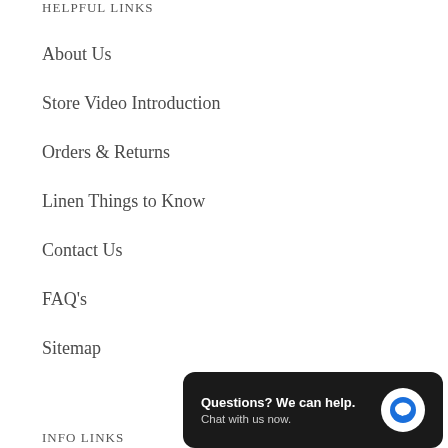HELPFUL LINKS
About Us
Store Video Introduction
Orders & Returns
Linen Things to Know
Contact Us
FAQ's
Sitemap
[Figure (other): Live chat widget with dark background reading 'Questions? We can help. Chat with us now.' with a blue chat bubble icon]
INFO LINKS